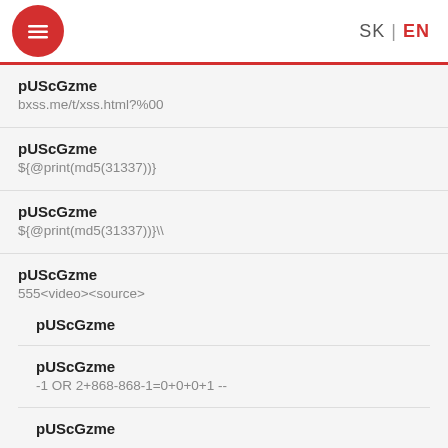SK | EN
pUScGzme
bxss.me/t/xss.html?%00
pUScGzme
${@print(md5(31337))}
pUScGzme
${@print(md5(31337))}\
pUScGzme
555<video><source onerror=\"javascript:s76a(9780)\">
pUScGzme
pUScGzme
-1 OR 2+868-868-1=0+0+0+1 --
pUScGzme